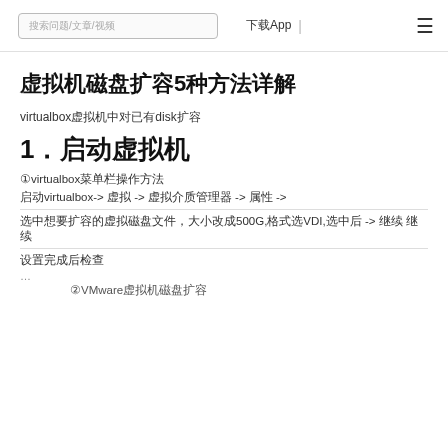搜索问题/文章/视频 下载App | ☰
虚拟机磁盘扩容5种方法详解
virtualbox虚拟机中对已有disk扩容
1．启动虚拟机
①virtualbox菜单栏操作方法
启动virtualbox-> 虚拟 -> 虚拟介质管理器 -> 属性 ->
选中想要扩容的虚拟磁盘文件，大小改成500G,格式选VDI,选中后 -> 继续 继续
设置完成后检查
…
②VMware虚拟机磁盘扩容